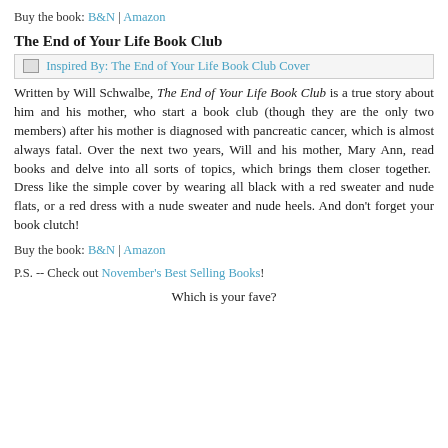Buy the book: B&N | Amazon
The End of Your Life Book Club
[Figure (illustration): Book cover image placeholder: Inspired By: The End of Your Life Book Club Cover]
Written by Will Schwalbe, The End of Your Life Book Club is a true story about him and his mother, who start a book club (though they are the only two members) after his mother is diagnosed with pancreatic cancer, which is almost always fatal. Over the next two years, Will and his mother, Mary Ann, read books and delve into all sorts of topics, which brings them closer together.  Dress like the simple cover by wearing all black with a red sweater and nude flats, or a red dress with a nude sweater and nude heels. And don't forget your book clutch!
Buy the book: B&N | Amazon
P.S. -- Check out November's Best Selling Books!
Which is your fave?